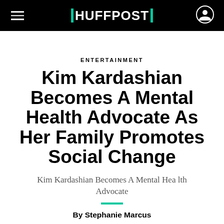HUFFPOST
ENTERTAINMENT
Kim Kardashian Becomes A Mental Health Advocate As Her Family Promotes Social Change
Kim Kardashian Becomes A Mental Health Advocate
By Stephanie Marcus
May 7, 2015, 12:33 PM EDT | Updated May 7, 2015